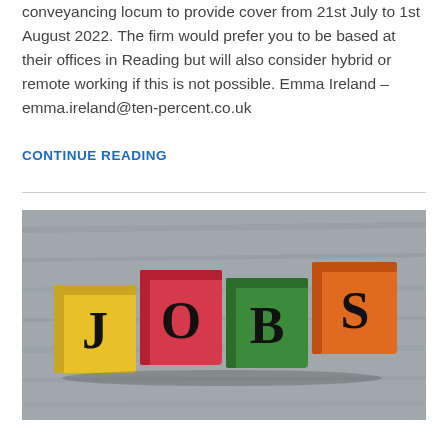conveyancing locum to provide cover from 21st July to 1st August 2022. The firm would prefer you to be based at their offices in Reading but will also consider hybrid or remote working if this is not possible. Emma Ireland – emma.ireland@ten-percent.co.uk
CONTINUE READING
[Figure (photo): Photo of colorful wooden blocks spelling JOBS - yellow block with J, red block with O, green block with B, orange block with S, arranged on a wooden surface]